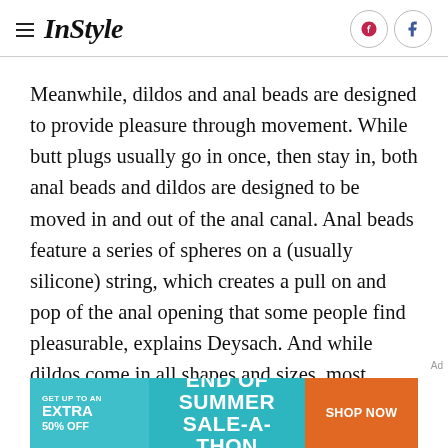InStyle
Meanwhile, dildos and anal beads are designed to provide pleasure through movement. While butt plugs usually go in once, then stay in, both anal beads and dildos are designed to be moved in and out of the anal canal. Anal beads feature a series of spheres on a (usually silicone) string, which creates a pull on and pop of the anal opening that some people find pleasurable, explains Deysach. And while dildos come in all shapes and sizes, most dildos are longer and thicker than butt plugs, and are usually shaped more like zucchinis (they're the same
[Figure (infographic): Advertisement banner: GET UP TO AN EXTRA 50% OFF — END OF SUMMER SALE-A-THON — SHOP NOW button]